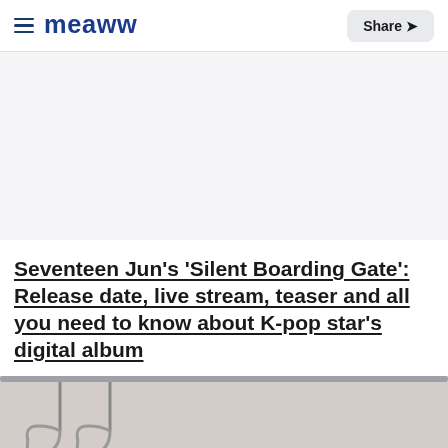meaww — Share
[Figure (other): Advertisement / blank placeholder area with light gray background]
Seventeen Jun's 'Silent Boarding Gate': Release date, live stream, teaser and all you need to know about K-pop star's digital album
[Figure (photo): Bottom portion of a photo showing metal hooks or hangers against a light beige/cream background]